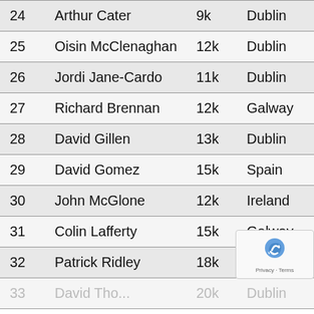| 24 | Arthur Cater | 9k | Dublin | IE |
| 25 | Oisin McClenaghan | 12k | Dublin | IE |
| 26 | Jordi Jane-Cardo | 11k | Dublin | ES |
| 27 | Richard Brennan | 12k | Galway | IE |
| 28 | David Gillen | 13k | Dublin | IE |
| 29 | David Gomez | 15k | Spain | ES |
| 30 | John McGlone | 12k | Ireland | IE |
| 31 | Colin Lafferty | 15k | Galway | IE |
| 32 | Patrick Ridley | 18k | Chester |  |
| 33 | David Tho... | 20k... | Dublin | IE |